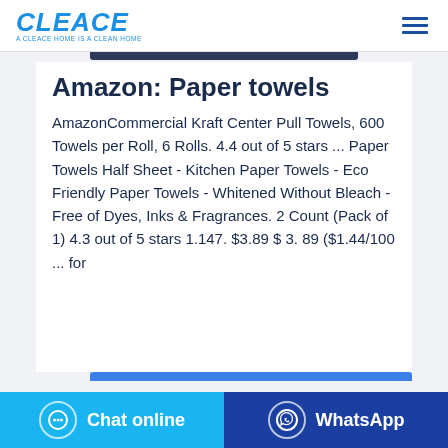CLEACE — A CLEACE HOME IS A CLEAN HOME
Amazon: Paper towels
AmazonCommercial Kraft Center Pull Towels, 600 Towels per Roll, 6 Rolls. 4.4 out of 5 stars ... Paper Towels Half Sheet - Kitchen Paper Towels - Eco Friendly Paper Towels - Whitened Without Bleach - Free of Dyes, Inks & Fragrances. 2 Count (Pack of 1) 4.3 out of 5 stars 1.147. $3.89 $ 3. 89 ($1.44/100 ... for
Chat online | WhatsApp